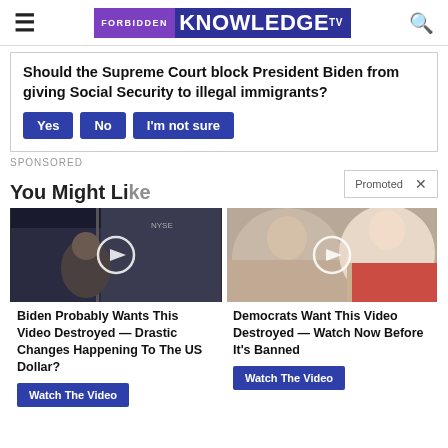FORBIDDEN KNOWLEDGE TV
Should the Supreme Court block President Biden from giving Social Security to illegal immigrants?
Yes  No  I'm not sure
SPONSORED
Promoted X
You Might Like
[Figure (photo): Video thumbnail showing man in suit at NYSE studio]
Biden Probably Wants This Video Destroyed — Drastic Changes Happening To The US Dollar?
Watch The Video
[Figure (photo): Video thumbnail showing Melania and Donald Trump]
Democrats Want This Video Destroyed — Watch Now Before It's Banned
Watch The Video